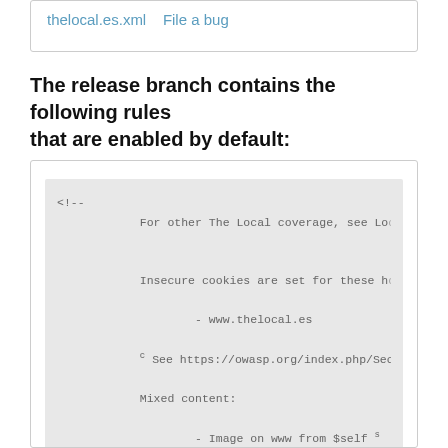thelocal.es.xml   File a bug
The release branch contains the following rules that are enabled by default:
[Figure (screenshot): Code block showing XML comment and ruleset tag for thelocal.es with comments about insecure cookies, mixed content, and OWASP reference, ending with --><ruleset name="The Local.es">]